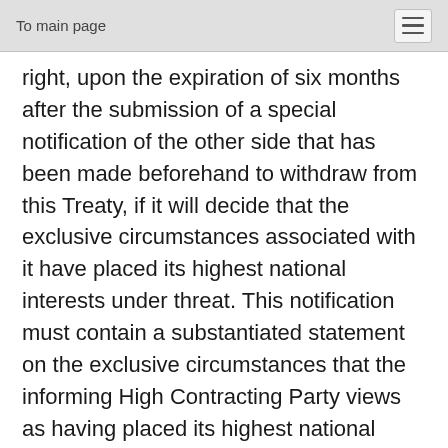To main page
right, upon the expiration of six months after the submission of a special notification of the other side that has been made beforehand to withdraw from this Treaty, if it will decide that the exclusive circumstances associated with it have placed its highest national interests under threat. This notification must contain a substantiated statement on the exclusive circumstances that the informing High Contracting Party views as having placed its highest national interests under threat.